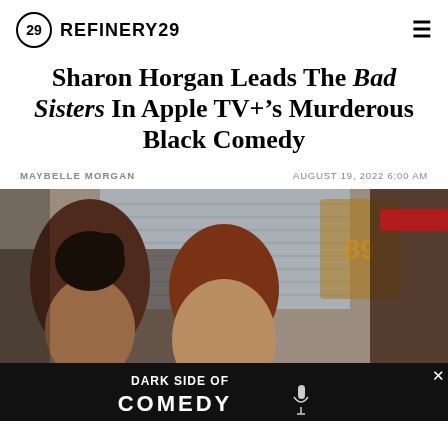REFINERY29
Sharon Horgan Leads The Bad Sisters In Apple TV+'s Murderous Black Comedy
MAYBELLE MORGAN   AUGUST 19, 2022 6:00 AM
[Figure (photo): Scene from Bad Sisters showing actors seated at a diner booth with venetian blinds in background. Two women face right toward a man in a red cap. An ad overlay at the bottom reads DARK SIDE OF COMEDY with a microphone graphic.]